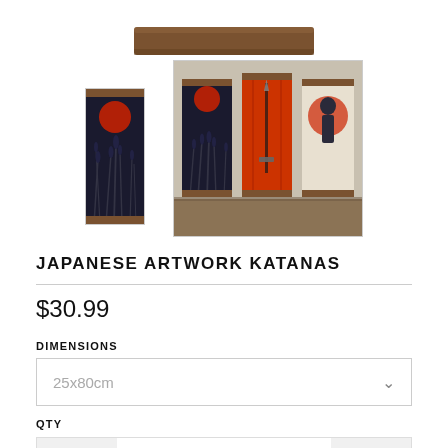[Figure (photo): Top portion of a wooden hanging scroll bar, brown wood, cropped at top of page]
[Figure (photo): Small thumbnail of a single Japanese hanging scroll artwork featuring grasses and red moon]
[Figure (photo): Larger thumbnail showing three Japanese hanging scroll artworks side by side on a wooden surface]
JAPANESE ARTWORK KATANAS
$30.99
DIMENSIONS
25x80cm
QTY
1